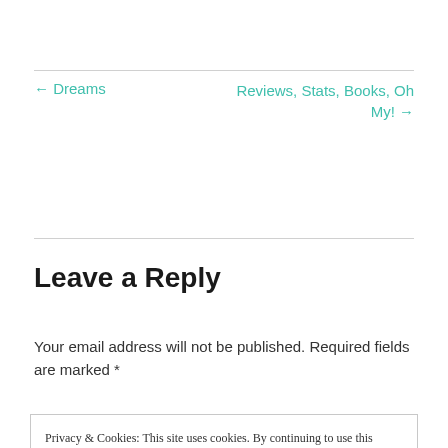← Dreams
Reviews, Stats, Books, Oh My! →
Leave a Reply
Your email address will not be published. Required fields are marked *
Privacy & Cookies: This site uses cookies. By continuing to use this website, you agree to their use.
To find out more, including how to control cookies, see here: Cookie Policy
Close and accept